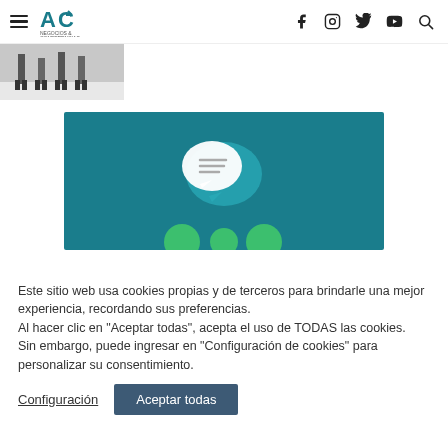≡ [Logo: Negocios & Conferencias] f  [instagram]  [twitter]  [youtube]  [search]
[Figure (photo): Partial thumbnail image showing people's feet/legs walking on a light floor]
[Figure (illustration): Teal/dark cyan banner with chat bubble icons (white and light teal) and green circles at the bottom, representing a communication or conference theme]
Este sitio web usa cookies propias y de terceros para brindarle una mejor experiencia, recordando sus preferencias.
Al hacer clic en "Aceptar todas", acepta el uso de TODAS las cookies.
Sin embargo, puede ingresar en "Configuración de cookies" para personalizar su consentimiento.
Configuración   Aceptar todas